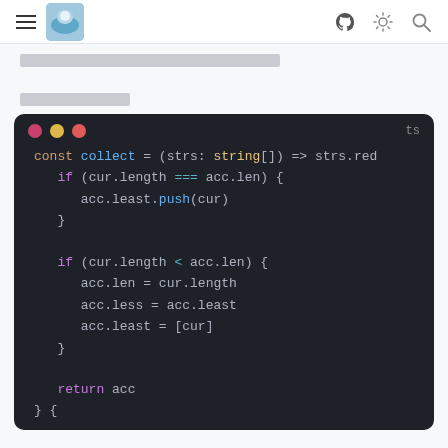[navigation header with hamburger menu, logo image, github icon, theme toggle, search icon]
[redacted text line 1]
[redacted text line 2]
[Figure (screenshot): Dark-themed code editor window showing TypeScript code. Traffic light buttons (purple/yellow/red) in titlebar with 'ts' label. Code shows: const collect = (strs: string[]) => strs.red... with if/else logic checking cur.length === acc.len and cur.length < acc.len, updating acc.least, acc.len, acc.less, and returning acc.]